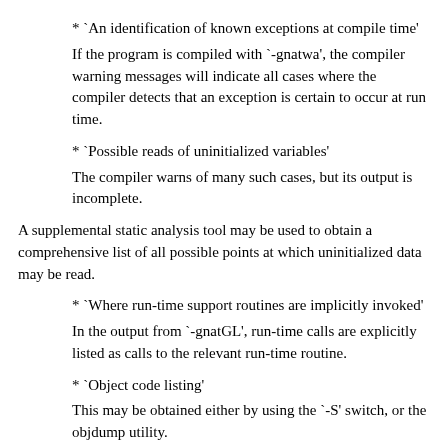* `An identification of known exceptions at compile time'
If the program is compiled with `-gnatwa', the compiler warning messages will indicate all cases where the compiler detects that an exception is certain to occur at run time.
* `Possible reads of uninitialized variables'
The compiler warns of many such cases, but its output is incomplete.
A supplemental static analysis tool may be used to obtain a comprehensive list of all possible points at which uninitialized data may be read.
* `Where run-time support routines are implicitly invoked'
In the output from `-gnatGL', run-time calls are explicitly listed as calls to the relevant run-time routine.
* `Object code listing'
This may be obtained either by using the `-S' switch, or the objdump utility.
* `Constructs known to be erroneous at compile time'